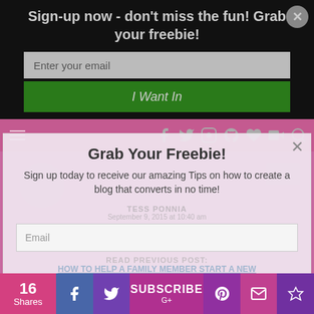Sign-up now - don't miss the fun! Grab your freebie!
Enter your email
I Want In
[Figure (screenshot): Navigation bar with hamburger menu and social icons (f, twitter bird, instagram, pinterest, heart, youtube, search)]
Grab Your Freebie!
Sign up today to receive our amazing Tips on how to create a blog that converts in no time!
Email
Name
READ PREVIOUS POST:
HOW TO HELP A FAMILY MEMBER START A NEW LIFE AFTER DRUG REHABILITATION
Image by Anton Redding via Flickr Rehabilitation is a
16 Shares
SUBSCRIBE